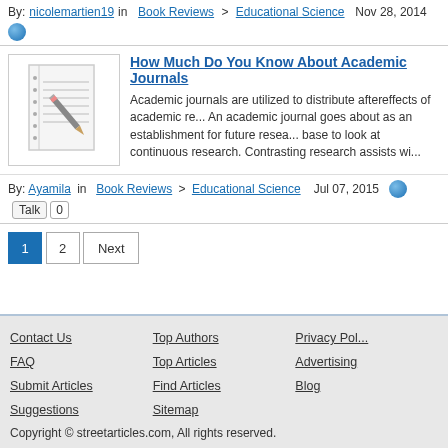By: nicolemartien19 in Book Reviews > Educational Science Nov 28, 2014
How Much Do You Know About Academic Journals
Academic journals are utilized to distribute aftereffects of academic re... An academic journal goes about as an establishment for future resea... base to look at continuous research. Contrasting research assists wi...
By: Ayamila in Book Reviews > Educational Science Jul 07, 2015
1 2 Next (pagination)
Contact Us | Top Authors | Privacy Pol... | FAQ | Top Articles | Advertising | Submit Articles | Find Articles | Blog | Suggestions | Sitemap | Copyright © streetarticles.com, All rights reserved.